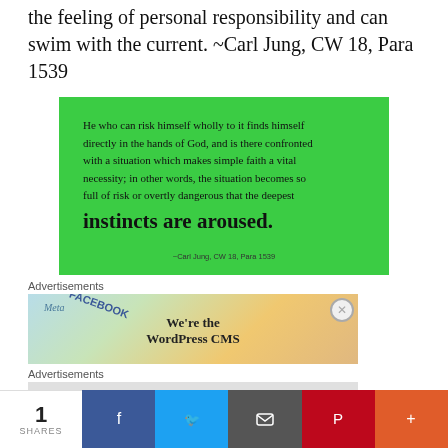the feeling of personal responsibility and can swim with the current. ~Carl Jung, CW 18, Para 1539
[Figure (illustration): Green card with handwritten-style script quote: 'He who can risk himself wholly to it finds himself directly in the hands of God, and is there confronted with a situation which makes simple faith a vital necessity; in other words, the situation becomes so full of risk or overtly dangerous that the deepest instincts are aroused.' Attribution: ~Carl Jung, CW 18, Para 1539]
Advertisements
[Figure (screenshot): Advertisement banner with Meta/Facebook branding and text 'We're the WordPress CMS']
Advertisements
[Figure (screenshot): Second advertisement banner partially visible]